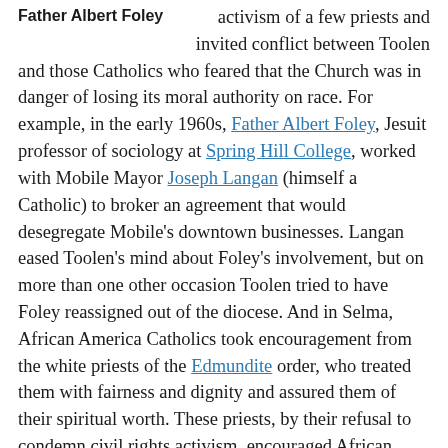Father Albert Foley
activism of a few priests and invited conflict between Toolen and those Catholics who feared that the Church was in danger of losing its moral authority on race. For example, in the early 1960s, Father Albert Foley, Jesuit professor of sociology at Spring Hill College, worked with Mobile Mayor Joseph Langan (himself a Catholic) to broker an agreement that would desegregate Mobile's downtown businesses. Langan eased Toolen's mind about Foley's involvement, but on more than one other occasion Toolen tried to have Foley reassigned out of the diocese. And in Selma, African American Catholics took encouragement from the white priests of the Edmundite order, who treated them with fairness and dignity and assured them of their spiritual worth. These priests, by their refusal to condemn civil rights activism, encouraged African Americans to press for change. The activities of these few Catholics signaled the direction that the Church would take as the civil rights movement intensified.
Seeking Gradual Change
In 1958 the